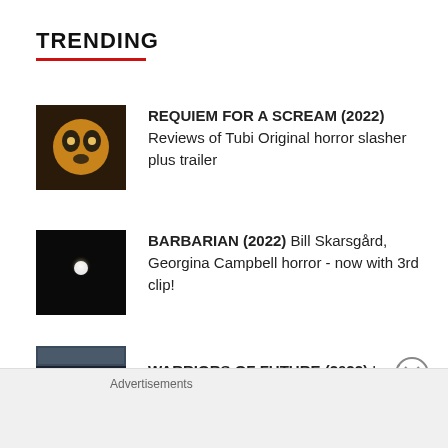TRENDING
REQUIEM FOR A SCREAM (2022) Reviews of Tubi Original horror slasher plus trailer
BARBARIAN (2022) Bill Skarsgård, Georgina Campbell horror - now with 3rd clip!
WARRIORS OF FUTURE (2022) Louis Koo sci-fi action flick - trailers
Advertisements